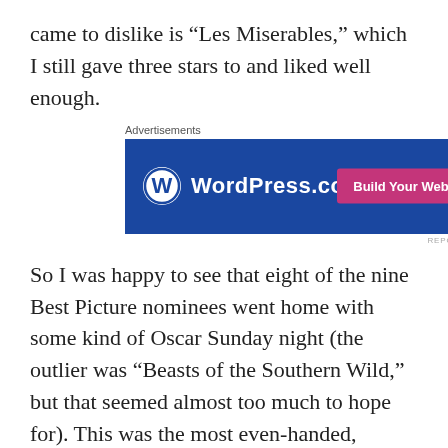came to dislike is “Les Miserables,” which I still gave three stars to and liked well enough.
[Figure (other): WordPress.com advertisement banner with blue background, WordPress logo on left, and pink 'Build Your Website' button on right]
So I was happy to see that eight of the nine Best Picture nominees went home with some kind of Oscar Sunday night (the outlier was “Beasts of the Southern Wild,” but that seemed almost too much to hope for). This was the most even-handed, widely-distributed Oscars I can remember — even my beloved “Skyfall” took home a couple, as well as a couple of shorts I was rooting for, the animated “Paperman” and the fantastic documentary short “Inocente.” All in all, a good night, and one that immediately made you want to go watch all those movies.